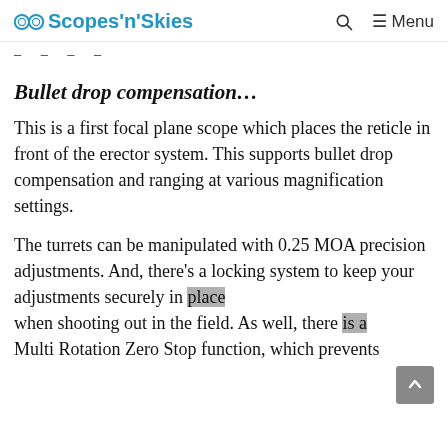Scopes'n'Skies
– – – –
Bullet drop compensation…
This is a first focal plane scope which places the reticle in front of the erector system. This supports bullet drop compensation and ranging at various magnification settings.
The turrets can be manipulated with 0.25 MOA precision adjustments. And, there's a locking system to keep your adjustments securely in place when shooting out in the field. As well, there is a Multi Rotation Zero Stop function, which prevents